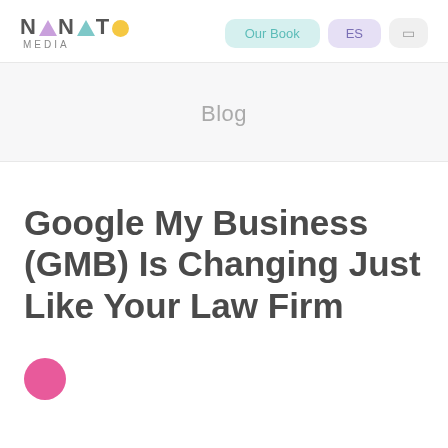NANATO MEDIA — Our Book | ES
Blog
Google My Business (GMB) Is Changing Just Like Your Law Firm